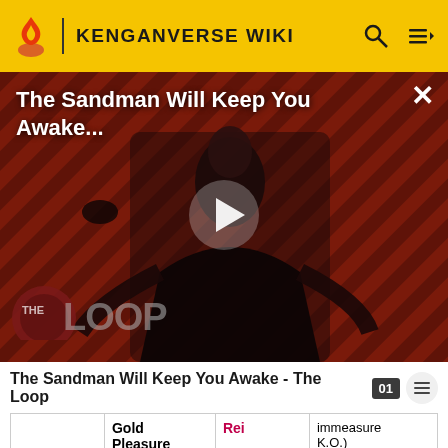KENGANVERSE WIKI
[Figure (screenshot): Video thumbnail for 'The Sandman Will Keep You Awake...' with a man in black costume standing in front of a diagonal stripe background, showing a play button overlay and 'THE LOOP' logo at bottom left.]
The Sandman Will Keep You Awake - The Loop
|  |  | Rei |  |
| --- | --- | --- | --- |
|  | Gold Pleasure Group | Rei | immeasurable K.O.) |
| Kengan | SF Cold | Ribito | Kuroki Gensai |